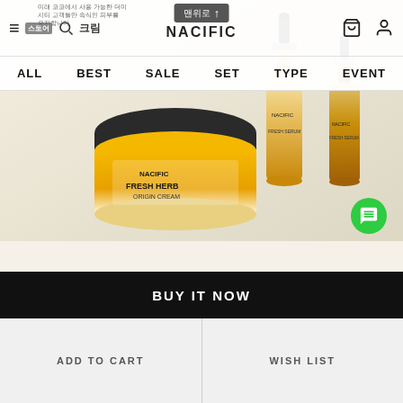맨위로 ↑ NACIFIC — navigation header with hamburger, search, cart, user icons
ALL  BEST  SALE  SET  TYPE  EVENT
[Figure (photo): Nacific Fresh Herb skincare products — a cream jar with black lid labeled NACIFIC FRESH HERB ORIGIN CREAM alongside two amber-colored serum/oil bottles, on a light beige background]
FRESH HERB ORIGIN
BUY IT NOW
ADD TO CART
WISH LIST